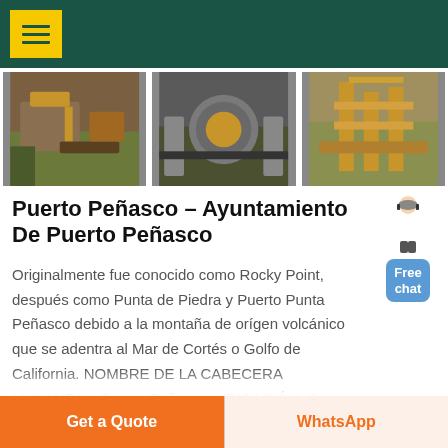[Figure (photo): Three photos of industrial/mining machinery and equipment]
Puerto Peñasco – Ayuntamiento De Puerto Peñasco
Originalmente fue conocido como Rocky Point, después como Punta de Piedra y Puerto Punta Peñasco debido a la montaña de orígen volcánico que se adentra al Mar de Cortés o Golfo de California. NOMBRE DE LA CABECERA MUNICIPAL: Puerto Peñasco. UBICACIÓN: Se localiza en la costa del Estado de Sonora...
[Figure (illustration): Customer service avatar figure with Free chat button]
Get a Quote   WhatsApp